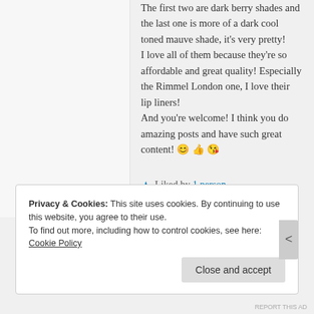The first two are dark berry shades and the last one is more of a dark cool toned mauve shade, it's very pretty! I love all of them because they're so affordable and great quality! Especially the Rimmel London one, I love their lip liners! And you're welcome! I think you do amazing posts and have such great content! 😊👍😘
★ Liked by 1 person
Privacy & Cookies: This site uses cookies. By continuing to use this website, you agree to their use. To find out more, including how to control cookies, see here: Cookie Policy